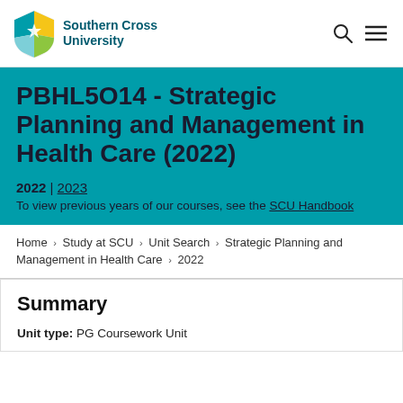Southern Cross University
PBHL5O14 - Strategic Planning and Management in Health Care (2022)
2022 | 2023
To view previous years of our courses, see the SCU Handbook
Home > Study at SCU > Unit Search > Strategic Planning and Management in Health Care > 2022
Summary
Unit type: PG Coursework Unit